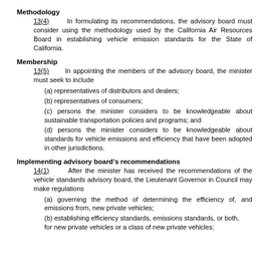Methodology
13(4)      In formulating its recommendations, the advisory board must consider using the methodology used by the California Air Resources Board in establishing vehicle emission standards for the State of California.
Membership
13(5)      In appointing the members of the advisory board, the minister must seek to include
(a) representatives of distributors and dealers;
(b) representatives of consumers;
(c) persons the minister considers to be knowledgeable about sustainable transportation policies and programs; and
(d) persons the minister considers to be knowledgeable about standards for vehicle emissions and efficiency that have been adopted in other jurisdictions.
Implementing advisory board's recommendations
14(1)      After the minister has received the recommendations of the vehicle standards advisory board, the Lieutenant Governor in Council may make regulations
(a) governing the method of determining the efficiency of, and emissions from, new private vehicles;
(b) establishing efficiency standards, emissions standards, or both, for new private vehicles or a class of new private vehicles;